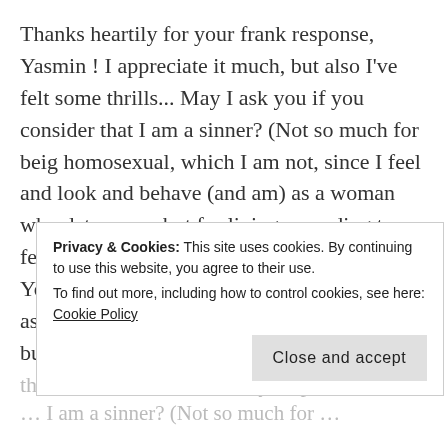Thanks heartily for your frank response, Yasmin ! I appreciate it much, but also I've felt some thrills... May I ask you if you consider that I am a sinner? (Not so much for beig homosexual, which I am not, since I feel and look and behave (and am) as a woman who dates men, but for living according to my feelings).
You are right about Judaism and Christianity as homophobic/transphobic creeds as well, but most Jews and Christians I know do not think/bad of me and entirely respect me...
Privacy & Cookies: This site uses cookies. By continuing to use this website, you agree to their use.
To find out more, including how to control cookies, see here: Cookie Policy
Close and accept